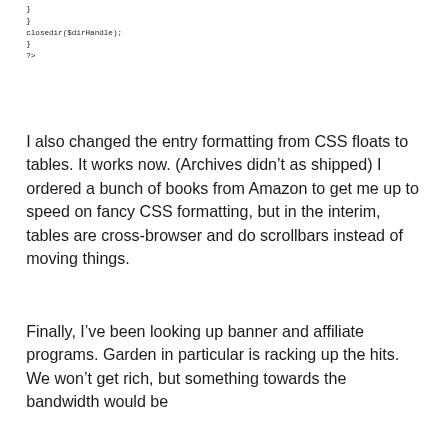}
}
closedir($dirHandle);
}
?>
I also changed the entry formatting from CSS floats to tables. It works now. (Archives didn’t as shipped) I ordered a bunch of books from Amazon to get me up to speed on fancy CSS formatting, but in the interim, tables are cross-browser and do scrollbars instead of moving things.
Finally, I’ve been looking up banner and affiliate programs. Garden in particular is racking up the hits. We won’t get rich, but something towards the bandwidth would be